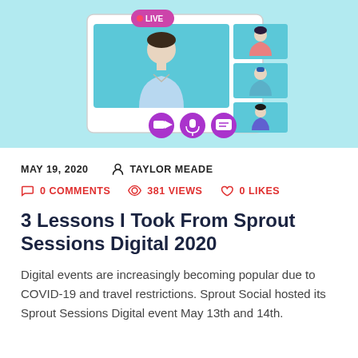[Figure (illustration): Light blue background illustration of a live video conference. A person on screen with a LIVE badge in purple, three smaller participant thumbnails on the right showing persons with avatars, and three control icons at the bottom (camera, microphone, chat) in purple circles. The interface resembles a video call platform.]
MAY 19, 2020   TAYLOR MEADE
0 COMMENTS   381 VIEWS   0 LIKES
3 Lessons I Took From Sprout Sessions Digital 2020
Digital events are increasingly becoming popular due to COVID-19 and travel restrictions. Sprout Social hosted its Sprout Sessions Digital event May 13th and 14th.